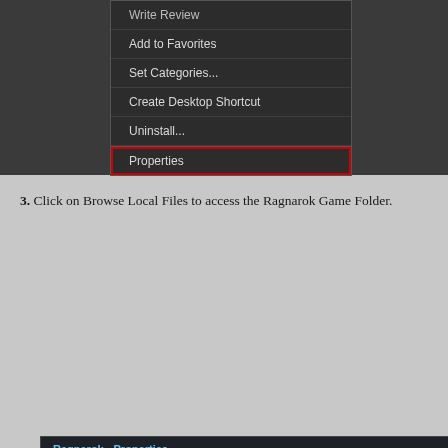[Figure (screenshot): Steam context menu showing options: Write Review, Add to Favorites, Set Categories..., Create Desktop Shortcut, Uninstall..., Properties (highlighted with red box)]
3. Click on Browse Local Files to access the Ragnarok Game Folder.
[Figure (screenshot): Steam Ragnarok - Properties window with LOCAL FILES tab selected (red box), showing Disk usage: 2567 MB on drive D:, BROWSE LOCAL FILES... button (red box), BACKUP GAME FILES..., UNINSTALL GAME..., and VERIFY INTEGRITY OF GAME FILES...]